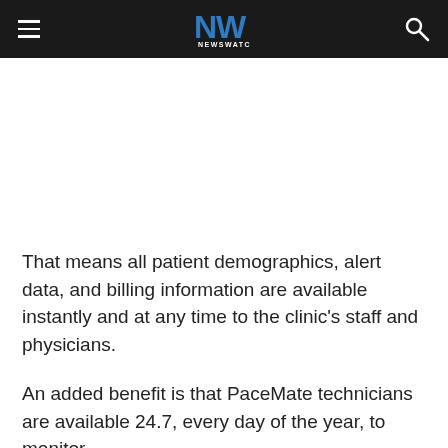NW NEWSWATCH
That means all patient demographics, alert data, and billing information are available instantly and at any time to the clinic's staff and physicians.
An added benefit is that PaceMate technicians are available 24.7, every day of the year, to monitor